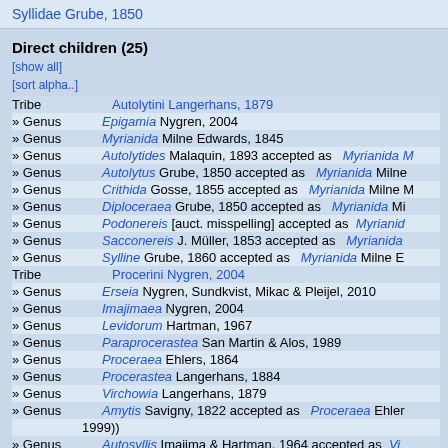Syllidae Grube, 1850
Direct children (25)
[show all]
[sort alpha..]
Tribe   Autolytini Langerhans, 1879
» Genus   Epigamia Nygren, 2004
» Genus   Myrianida Milne Edwards, 1845
» Genus   Autolytides Malaquin, 1893 accepted as   Myrianida M...
» Genus   Autolytus Grube, 1850 accepted as   Myrianida Milne
» Genus   Crithida Gosse, 1855 accepted as   Myrianida Milne M...
» Genus   Diploceraea Grube, 1850 accepted as   Myrianida Mi...
» Genus   Podonereis [auct. misspelling] accepted as   Myrianid...
» Genus   Sacconereis J. Müller, 1853 accepted as   Myrianida
» Genus   Sylline Grube, 1860 accepted as   Myrianida Milne E...
Tribe   Procerini Nygren, 2004
» Genus   Erseia Nygren, Sundkvist, Mikac & Pleijel, 2010
» Genus   Imajimaea Nygren, 2004
» Genus   Levidorum Hartman, 1967
» Genus   Paraprocerastea San Martin & Alos, 1989
» Genus   Proceraea Ehlers, 1864
» Genus   Procerastea Langerhans, 1884
» Genus   Virchowia Langerhans, 1879
» Genus   Amytis Savigny, 1822 accepted as   Proceraea Ehler... 1999))
» Genus   Autosyllis Imajima & Hartman, 1964 accepted as   Vi...
» Genus   Nereisyllis Blainville, 1828 accepted as   Proceraea B... (ICZN, 1999))
» Genus   Polybostrichus Ørsted, 1843 accepted as   Procea...